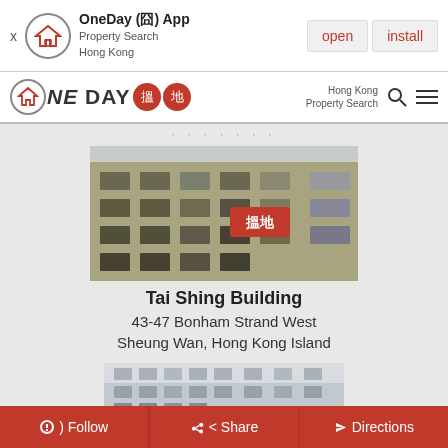[Figure (screenshot): App install banner for OneDay (一) App - Property Search Hong Kong with open and install buttons]
[Figure (logo): OneDay 搵地 logo with Hong Kong Property Search navigation bar]
[Figure (photo): Photo of Tai Shing Building - a multi-story Hong Kong building with signs]
Tai Shing Building
43-47 Bonham Strand West
Sheung Wan, Hong Kong Island
[Figure (photo): Partial photo of another building]
[Figure (screenshot): Bottom navigation bar with Follow, Share, and Directions buttons]